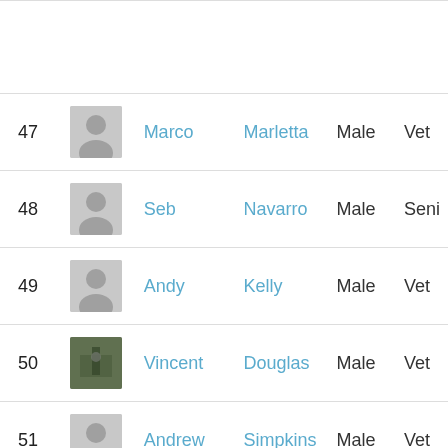| # | Photo | First | Last | Gender | Type |
| --- | --- | --- | --- | --- | --- |
| 47 |  | Marco | Marletta | Male | Vet |
| 48 |  | Seb | Navarro | Male | Seni |
| 49 |  | Andy | Kelly | Male | Vet |
| 50 | [photo] | Vincent | Douglas | Male | Vet |
| 51 |  | Andrew | Simpkins | Male | Vet |
| 52 |  | Cliff | Voller | Male | Vet |
| 53 |  | Rebecca | Comins | Female | Vet |